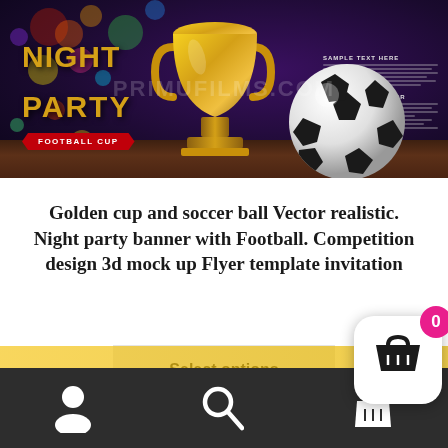[Figure (illustration): Night Party Football Cup promotional banner showing a golden trophy cup and soccer ball on a dark bokeh background with 'NIGHT PARTY' text in gold and 'FOOTBALL CUP' on a red ribbon. Watermark text 'PRIMUFILMS.COM' overlaid. Sample text blocks in upper right.]
Golden cup and soccer ball Vector realistic. Night party banner with Football. Competition design 3d mock up Flyer template invitation
Select options
Navigation bar with user icon, search icon, and shopping basket icon. Cart bubble showing 0 items.